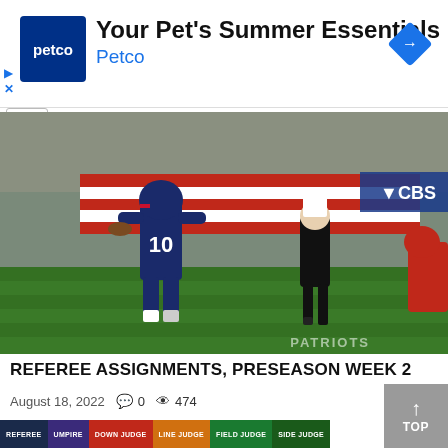[Figure (screenshot): Petco advertisement banner showing logo, 'Your Pet's Summer Essentials' headline, 'Petco' subtext, and a blue diamond arrow icon]
[Figure (photo): New England Patriots quarterback #10 scrambling on the field with a referee and other players during a preseason NFL game. CBS logo visible in background. PATRIOTS watermark in bottom right.]
REFEREE ASSIGNMENTS, PRESEASON WEEK 2
August 18, 2022  0  474
[Figure (screenshot): Bottom strip showing referee assignment table headers: REFEREE, UMPIRE, DOWN JUDGE, LINE JUDGE, FIELD JUDGE, SIDE JUDGE in colored cells]